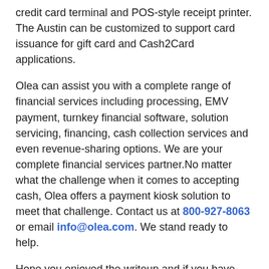credit card terminal and POS-style receipt printer. The Austin can be customized to support card issuance for gift card and Cash2Card applications.
Olea can assist you with a complete range of financial services including processing, EMV payment, turnkey financial software, solution servicing, financing, cash collection services and even revenue-sharing options. We are your complete financial services partner.No matter what the challenge when it comes to accepting cash, Olea offers a payment kiosk solution to meet that challenge. Contact us at 800-927-8063 or email info@olea.com. We stand ready to help.
Hope you enjoyed the writeup and if you have any questions drop me an email at craig@olea.com
More Information on Bill Pay Kiosks